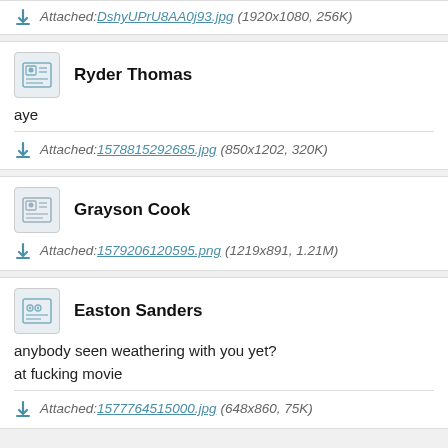Attached: DshyUPrU8AA0j93.jpg (1920x1080, 256K)
Ryder Thomas
aye
Attached: 1578815292685.jpg (850x1202, 320K)
Grayson Cook
Attached: 1579206120595.png (1219x891, 1.21M)
Easton Sanders
anybody seen weathering with you yet?
at fucking movie
Attached: 1577764515000.jpg (648x860, 75K)